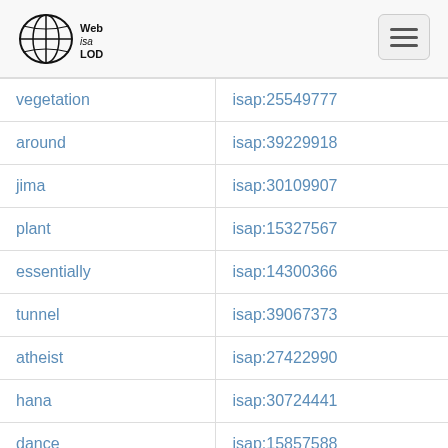Web isa LOD
| term | isap id |
| --- | --- |
| vegetation | isap:25549777 |
| around | isap:39229918 |
| jima | isap:30109907 |
| plant | isap:15327567 |
| essentially | isap:14300366 |
| tunnel | isap:39067373 |
| atheist | isap:27422990 |
| hana | isap:30724441 |
| dance | isap:15857588 |
| pirate | isap:38634758 |
| process | isap:26605538 |